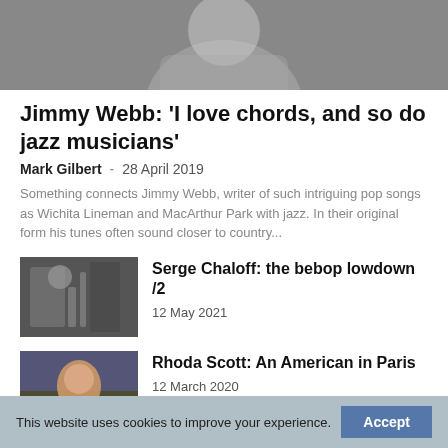[Figure (photo): Black and white portrait photo of a person, cropped at top]
Jimmy Webb: 'I love chords, and so do jazz musicians'
Mark Gilbert - 28 April 2019
Something connects Jimmy Webb, writer of such intriguing pop songs as Wichita Lineman and MacArthur Park with jazz. In their original form his tunes often sound closer to country...
[Figure (photo): Black and white photo of musicians performing, saxophone player visible]
Serge Chaloff: the bebop lowdown /2
12 May 2021
[Figure (photo): Color photo of a smiling woman performer on stage]
Rhoda Scott: An American in Paris
12 March 2020
This website uses cookies to improve your experience.